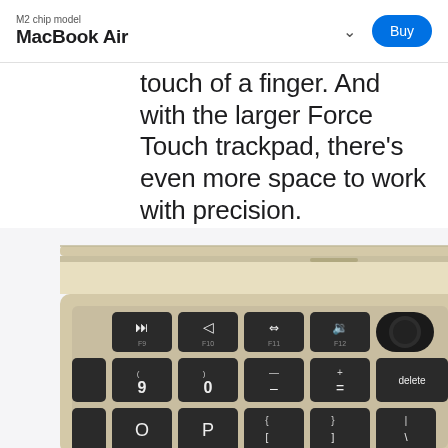M2 chip model
MacBook Air
touch of a finger. And with the larger Force Touch trackpad, there's even more space to work with precision.
[Figure (photo): Close-up top-down view of a MacBook Air (M2) keyboard in Starlight color, showing function key row (F9–F12 with media controls), number row (9, 0, –, =, delete), and letter rows (O, P, {[, }], |\, K, L, ;:, '", return). Keyboard has dark/black keycaps on a warm gold-beige aluminum chassis.]